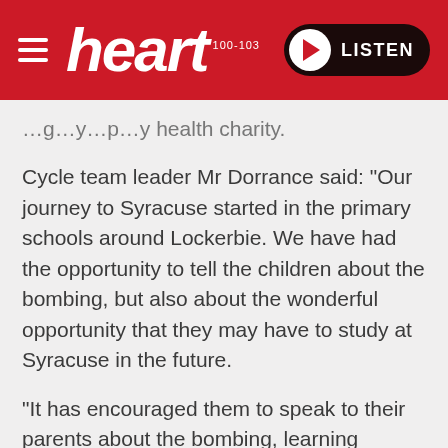heart 100-103 | LISTEN
…g…y…p…y health charity.
Cycle team leader Mr Dorrance said: "Our journey to Syracuse started in the primary schools around Lockerbie. We have had the opportunity to tell the children about the bombing, but also about the wonderful opportunity that they may have to study at Syracuse in the future.
"It has encouraged them to speak to their parents about the bombing, learning something of how it affected the older generation in 1988. We are all reminded of just how selfless and heroic so many people were, and how widely it is still talked about today. Of course, for some, the journey will never end.